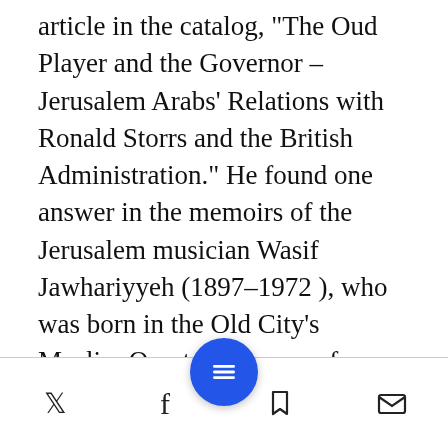article in the catalog, "The Oud Player and the Governor – Jerusalem Arabs' Relations with Ronald Storrs and the British Administration." He found one answer in the memoirs of the Jerusalem musician Wasif Jawhariyyeh (1897–1972 ), who was born in the Old City's Muslim Quarter. The son of an established Christian family that was close to the Muslim elite in Jerusalem, Jawhariyyeh was a junior official in the municipality, but at night played the oud at parties and in cafes. Wallach relates that Jawhariyyeh's dual identity – in the municipality and as a frequenter of circles of
[social sharing and navigation toolbar with Twitter, Facebook, menu, bookmark, and email icons]